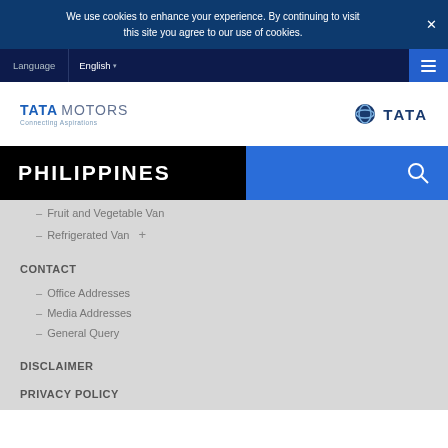We use cookies to enhance your experience. By continuing to visit this site you agree to our use of cookies.
Language  English
[Figure (logo): Tata Motors Connecting Aspirations logo on left, TATA group logo on right]
PHILIPPINES
– Fruit and Vegetable Van
– Refrigerated Van +
CONTACT
– Office Addresses
– Media Addresses
– General Query
DISCLAIMER
PRIVACY POLICY